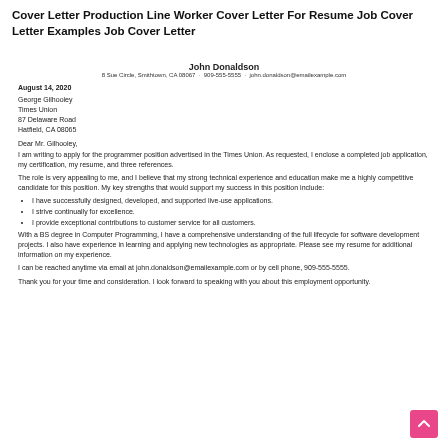Cover Letter Production Line Worker Cover Letter For Resume Job Cover Letter Examples Job Cover Letter
John Donaldson
8 Sue Circle, Smithtown, CA 08067 · 909-555-5555 · john.donaldson@emailexample.com
August 14, 2020
George Gilhooley
Times Union
87 Delaware Road
Hatfield, CA 08065
Dear Mr. Gilhooley,
I am writing to apply for the programmer position advertised in the Times Union. As requested, I enclose a completed job application, my certification, my resume, and three references.
The role is very appealing to me, and I believe that my strong technical experience and education make me a highly competitive candidate for this position. My key strengths that would support my success in this position include:
I have successfully designed, developed, and supported live-use applications.
I strive continually for excellence.
I provide exceptional contributions to customer service for all customers.
With a BS degree in Computer Programming, I have a comprehensive understanding of the full lifecycle for software development projects. I also have experience in learning and applying new technologies as appropriate. Please see my resume for additional information on my experience.
I can be reached anytime via email at john.donaldson@emailexample.com or by cell phone, 909-555-5555.
Thank you for your time and consideration. I look forward to speaking with you about this employment opportunity.